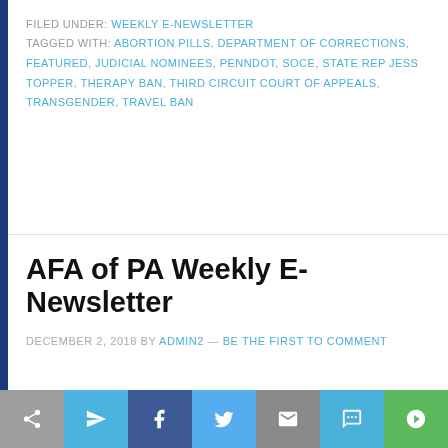FILED UNDER: WEEKLY E-NEWSLETTER
TAGGED WITH: ABORTION PILLS, DEPARTMENT OF CORRECTIONS, FEATURED, JUDICIAL NOMINEES, PENNDOT, SOCE, STATE REP JESS TOPPER, THERAPY BAN, THIRD CIRCUIT COURT OF APPEALS, TRANSGENDER, TRAVEL BAN
AFA of PA Weekly E-Newsletter
DECEMBER 2, 2018 BY ADMIN2 — BE THE FIRST TO COMMENT
News From Around PA
1.)  University of